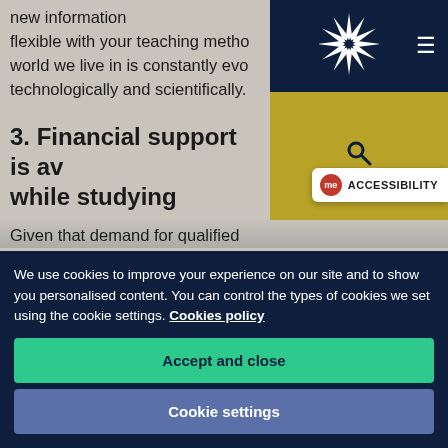new information flexible with your teaching methods world we live in is constantly evolving technologically and scientifically.
3. Financial support is available while studying
Given that demand for qualified STEM teachers is so high, there's extensive financial support on offer to help attract more people to teaching in this area...
[Figure (screenshot): Navigation overlay with dark navy background, white starburst/spike logo, hamburger menu icon, gold/yellow search bar with magnifying glass icon]
[Figure (screenshot): Accessibility badge with red 'me' circle and ACCESSIBILITY text in uppercase]
We use cookies to improve your experience on our site and to show you personalised content. You can control the types of cookies we set using the cookie settings. Cookies policy
Accept and close
Cookie settings